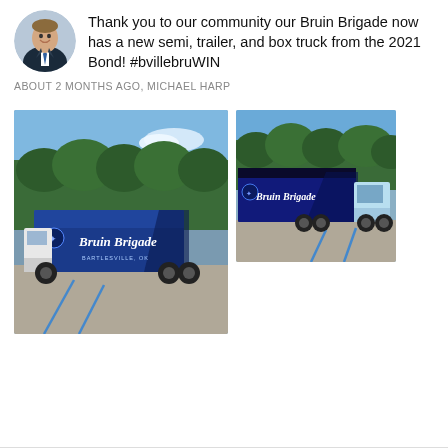[Figure (photo): Circular avatar photo of a man in a suit and tie smiling]
Thank you to our community our Bruin Brigade now has a new semi, trailer, and box truck from the 2021 Bond! #bvillebruWIN
ABOUT 2 MONTHS AGO, MICHAEL HARP
[Figure (photo): Photo of a blue Bruin Brigade box truck in a parking lot with trees in the background]
[Figure (photo): Photo of the Bruin Brigade semi and trailer in a parking lot with trees in the background]